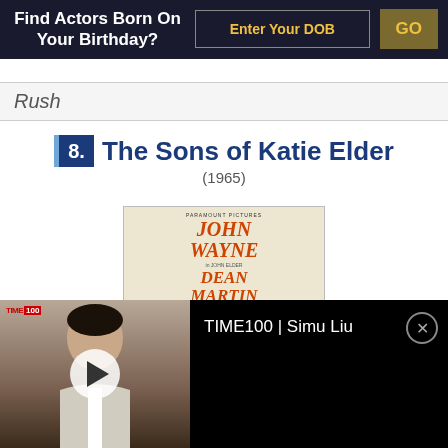Find Actors Born On Your Birthday?
Rush
8. The Sons of Katie Elder (1965)
[Figure (photo): Movie poster for The Sons of Katie Elder (1965) featuring John Wayne and Dean Martin text in orange, with tagline and figures of cowboy men at the bottom.]
[Figure (screenshot): TIME100 video overlay showing Simu Liu with play button and TIME100 branding.]